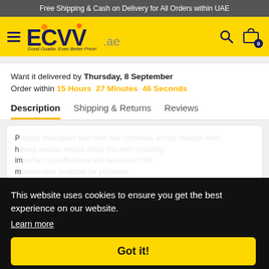Free Shipping & Cash on Delivery for All Orders within UAE
[Figure (logo): ECVV.ae logo with hamburger menu, search icon, and cart icon with 0 badge on yellow background]
Want it delivered by Thursday, 8 September
Order within 15 Hours 27 Minutes 46 Seconds
Description | Shipping & Returns | Reviews
P... h... im... m... P...
This website uses cookies to ensure you get the best experience on our website. Learn more
Got it!